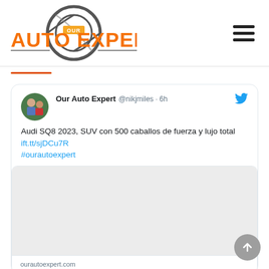[Figure (logo): Our Auto Expert logo with orange and gray text and tire/gear graphic]
[Figure (screenshot): Tweet from @nikjmiles (Our Auto Expert) reading: Audi SQ8 2023, SUV con 500 caballos de fuerza y lujo total ift.tt/sjDCu7R #ourautoexpert, with an embedded link preview showing ourautoexpert.com]